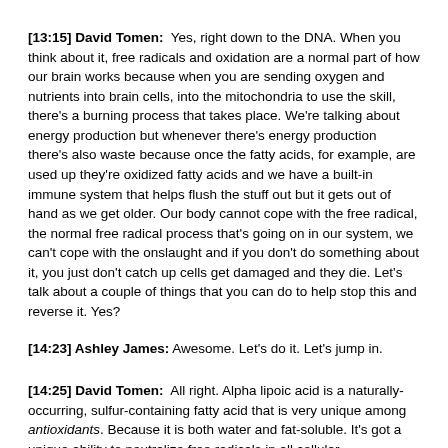[13:15] David Tomen: Yes, right down to the DNA. When you think about it, free radicals and oxidation are a normal part of how our brain works because when you are sending oxygen and nutrients into brain cells, into the mitochondria to use the skill, there's a burning process that takes place. We're talking about energy production but whenever there's energy production there's also waste because once the fatty acids, for example, are used up they're oxidized fatty acids and we have a built-in immune system that helps flush the stuff out but it gets out of hand as we get older. Our body cannot cope with the free radical, the normal free radical process that's going on in our system, we can't cope with the onslaught and if you don't do something about it, you just don't catch up cells get damaged and they die. Let's talk about a couple of things that you can do to help stop this and reverse it. Yes?
[14:23] Ashley James: Awesome. Let's do it. Let's jump in.
[14:25] David Tomen: All right. Alpha lipoic acid is a naturally-occurring, sulfur-containing fatty acid that is very unique among antioxidants. Because it is both water and fat-soluble. It's got a unique ability to neutralize free radicals in all cellular environments. This antioxidant can even reduce brain damage after a stroke.